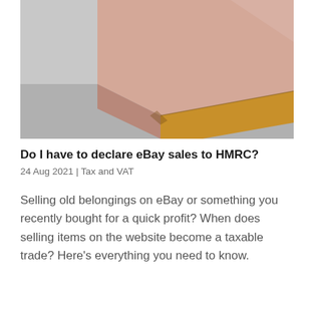[Figure (photo): Close-up photo of two stacked cardboard/wooden boxes on a light grey surface, one pinkish-beige and one golden-brown, photographed from above at an angle.]
Do I have to declare eBay sales to HMRC?
24 Aug 2021  |  Tax and VAT
Selling old belongings on eBay or something you recently bought for a quick profit? When does selling items on the website become a taxable trade? Here’s everything you need to know.